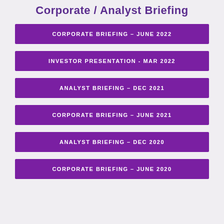Corporate / Analyst Briefing
CORPORATE BRIEFING – JUNE 2022
INVESTOR PRESENTATION - MAR 2022
ANALYST BRIEFING – DEC 2021
CORPORATE BRIEFING – JUNE 2021
ANALYST BRIEFING – DEC 2020
CORPORATE BRIEFING – JUNE 2020